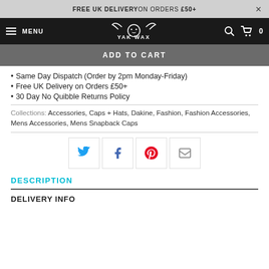FREE UK DELIVERY ON ORDERS £50+  ×
MENU  YAK WAX  🔍  🛒 0
ADD TO CART
Same Day Dispatch (Order by 2pm Monday-Friday)
Free UK Delivery on Orders £50+
30 Day No Quibble Returns Policy
Collections: Accessories, Caps + Hats, Dakine, Fashion, Fashion Accessories, Mens Accessories, Mens Snapback Caps
[Figure (infographic): Social share buttons for Twitter, Facebook, Pinterest, and Email]
DESCRIPTION
DELIVERY INFO